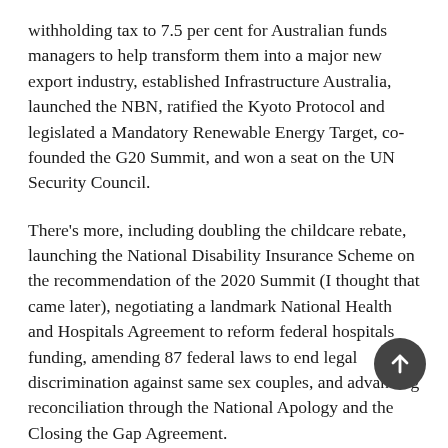withholding tax to 7.5 per cent for Australian funds managers to help transform them into a major new export industry, established Infrastructure Australia, launched the NBN, ratified the Kyoto Protocol and legislated a Mandatory Renewable Energy Target, co-founded the G20 Summit, and won a seat on the UN Security Council.
There's more, including doubling the childcare rebate, launching the National Disability Insurance Scheme on the recommendation of the 2020 Summit (I thought that came later), negotiating a landmark National Health and Hospitals Agreement to reform federal hospitals funding, amending 87 federal laws to end legal discrimination against same sex couples, and advancing reconciliation through the National Apology and the Closing the Gap Agreement.
Very impressive, but I think Rudd was clapped out after Copenhagen climate summit, essentially in a more or less permanent state of shock. The Chinese, he said, had ratf*cked